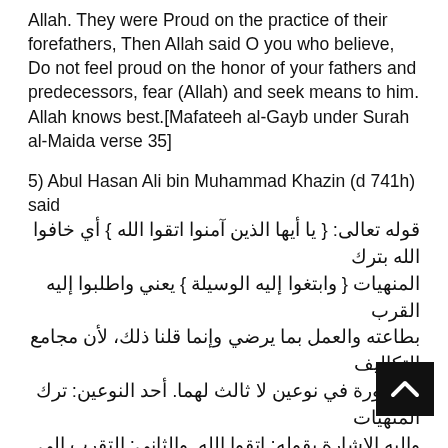Allah. They were Proud on the practice of their forefathers, Then Allah said O you who believe, Do not feel proud on the honor of your fathers and predecessors, fear (Allah) and seek means to him. Allah knows best.[Mafateeh al-Gayb under Surah al-Maida verse 35]
5) Abul Hasan Ali bin Muhammad Khazin (d 741h) said قوله تعالى: { يا أيها الذين آمنوا اتقوا الله } أي خافوا الله بترك المنهيات { وابتغوا إليه الوسيلة } يعني واطلبوا إليه القرب بطاعته والعمل بما يرضي وإنما قلنا ذلك، لأن مجامع التكاليف محصورة في نوعين لا ثالث لهما. أحد النوعين: ترك المنهيات وإليه الإشارة بقوله: اتقوا الله. والثاني: التقرب إلى الله تعالى بالطاعت وإليه الإشارة بقوله: وابتغوا إليه الوسيلة Allah says " O you who believe fear Allah" Meaning leave the things which are forbidden by fearing Allah. "And seek means to approach to him" Meaning seek nearness to him through obedience and works which pleases Allah. I said this because there are two types of